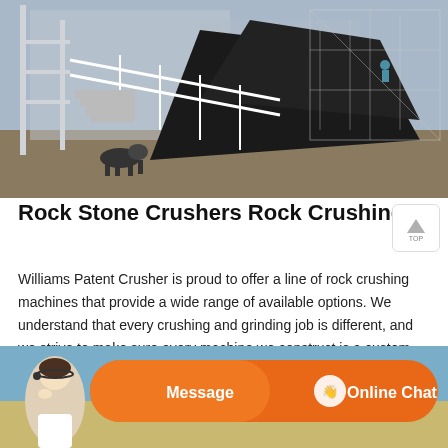[Figure (photo): Industrial rock crushing facility with heavy machinery, conveyors, and steel frame structures at a mining/construction site.]
Rock Stone Crushers Rock Crushing Machines Willia
Williams Patent Crusher is proud to offer a line of rock crushing machines that provide a wide range of available options. We understand that every crushing and grinding job is different, and we strive to make sure every machine we construct is a custom solution that gets a specific job done right.
[Figure (photo): Bottom banner showing a customer service representative with Message and Online Chat buttons on an orange rounded-rectangle background.]